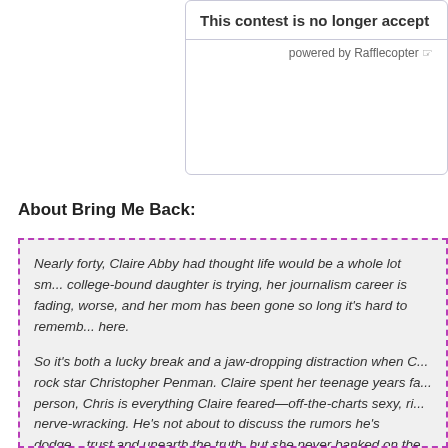This contest is no longer accept...
powered by Rafflecopter
About Bring Me Back:
Nearly forty, Claire Abby had thought life would be a whole lot sm... college-bound daughter is trying, her journalism career is fading, worse, and her mom has been gone so long it's hard to rememb... here.

So it's both a lucky break and a jaw-dropping distraction when C... rock star Christopher Penman. Claire spent her teenage years fa... person, Chris is everything Claire feared—off-the-charts sexy, ri... nerve-wracking. He's not about to discuss the rumors he's dodge... trust and unearth the truth, but she never banked on the heartbr...

His blockbuster story is his first priority when she returns home...